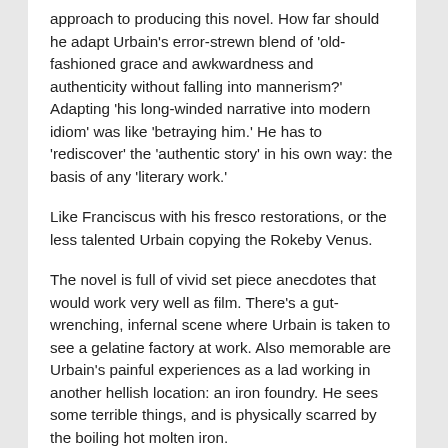approach to producing this novel. How far should he adapt Urbain’s error-strewn blend of ‘old-fashioned grace and awkwardness and authenticity without falling into mannerism?’ Adapting ‘his long-winded narrative into modern idiom’ was like ‘betraying him.’ He has to ‘rediscover’ the ‘authentic story’ in his own way: the basis of any ‘literary work.’
Like Franciscus with his fresco restorations, or the less talented Urbain copying the Rokeby Venus.
The novel is full of vivid set piece anecdotes that would work very well as film. There’s a gut-wrenching, infernal scene where Urbain is taken to see a gelatine factory at work. Also memorable are Urbain’s painful experiences as a lad working in another hellish location: an iron foundry. He sees some terrible things, and is physically scarred by the boiling hot molten iron.
But these scenes are eclipsed by his searing account of combat in Flanders. In the second notebook Urbain set